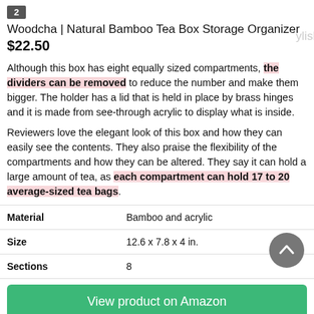2
Woodcha | Natural Bamboo Tea Box Storage Organizer
$22.50
Although this box has eight equally sized compartments, the dividers can be removed to reduce the number and make them bigger. The holder has a lid that is held in place by brass hinges and it is made from see-through acrylic to display what is inside.
Reviewers love the elegant look of this box and how they can easily see the contents. They also praise the flexibility of the compartments and how they can be altered. They say it can hold a large amount of tea, as each compartment can hold 17 to 20 average-sized tea bags.
| Material |  |
| --- | --- |
| Material | Bamboo and acrylic |
| Size | 12.6 x 7.8 x 4 in. |
| Sections | 8 |
View product on Amazon